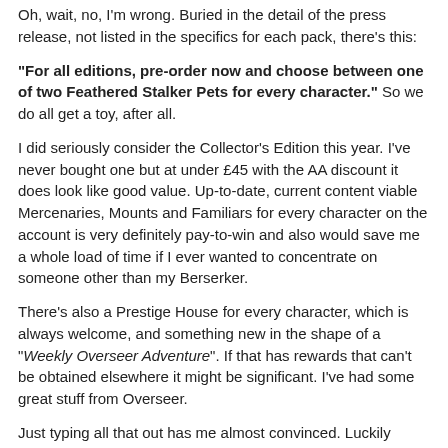Oh, wait, no, I'm wrong. Buried in the detail of the press release, not listed in the specifics for each pack, there's this:
"For all editions, pre-order now and choose between one of two Feathered Stalker Pets for every character." So we do all get a toy, after all.
I did seriously consider the Collector's Edition this year. I've never bought one but at under £45 with the AA discount it does look like good value. Up-to-date, current content viable Mercenaries, Mounts and Familiars for every character on the account is very definitely pay-to-win and also would save me a whole load of time if I ever wanted to concentrate on someone other than my Berserker.
There's also a Prestige House for every character, which is always welcome, and something new in the shape of a "Weekly Overseer Adventure". If that has rewards that can't be obtained elsewhere it might be significant. I've had some great stuff from Overseer.
Just typing all that out has me almost convinced. Luckily there's an upgrade option, so even though I've aready pulled